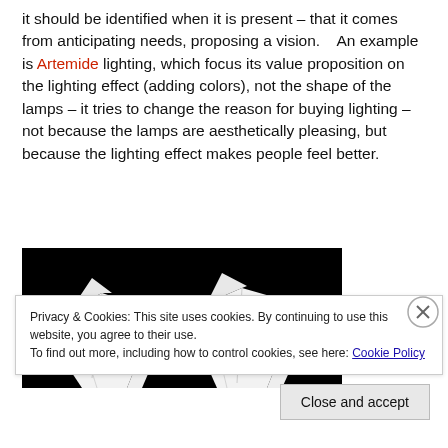it should be identified when it is present – that it comes from anticipating needs, proposing a vision.   An example is Artemide lighting, which focus its value proposition on the lighting effect (adding colors), not the shape of the lamps – it tries to change the reason for buying lighting – not because the lamps are aesthetically pleasing, but because the lighting effect makes people feel better.
[Figure (photo): Black and white photograph of white geometric paper/fabric lamp shapes against a black background, two lamp forms visible]
Privacy & Cookies: This site uses cookies. By continuing to use this website, you agree to their use.
To find out more, including how to control cookies, see here: Cookie Policy
Close and accept